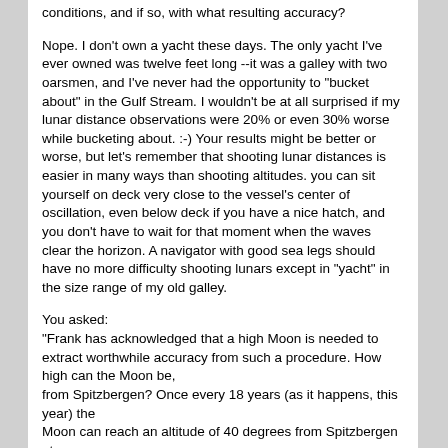conditions, and if so, with what resulting accuracy?
Nope. I don't own a yacht these days. The only yacht I've ever owned was twelve feet long --it was a galley with two oarsmen, and I've never had the opportunity to "bucket about" in the Gulf Stream. I wouldn't be at all surprised if my lunar distance observations were 20% or even 30% worse while bucketing about. :-) Your results might be better or worse, but let's remember that shooting lunar distances is easier in many ways than shooting altitudes. you can sit yourself on deck very close to the vessel's center of oscillation, even below deck if you have a nice hatch, and you don't have to wait for that moment when the waves clear the horizon. A navigator with good sea legs should have no more difficulty shooting lunars except in "yacht" in the size range of my old galley.
You asked:
"Frank has acknowledged that a high Moon is needed to extract worthwhile accuracy from such a procedure. How high can the Moon be,
from Spitzbergen? Once every 18 years (as it happens, this year) the
Moon can reach an altitude of 40 degrees from Spitzbergen at some
short period in each month. Most of the time, it's going to be much lower than that. So how does measuring a lunar distance angle to 0.1
arc-minutes, if that can be done, result in a position to +/- 6 nautical miles?"
No. This is WRONG. I have said AGAIN AND AGAIN that the altitude of the Moon has no bearing on our SWNIWA—the abil...